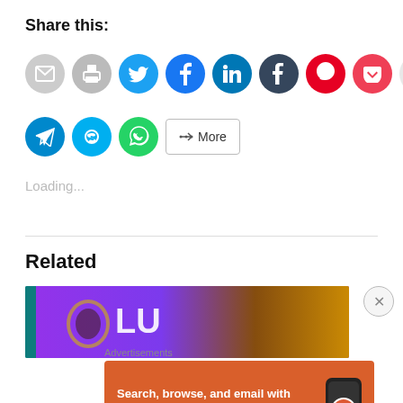Share this:
[Figure (infographic): Row of social sharing icon buttons: email (gray), print (gray), Twitter (cyan), Facebook (blue), LinkedIn (dark blue), Tumblr (dark navy), Pinterest (red), Pocket (dark red), Reddit (light gray), WhatsApp-like (green with phone), Evernote (gray-green)]
[Figure (infographic): Second row of social sharing buttons: Telegram (blue), Skype (light blue), WhatsApp (green), and a More button with share icon]
Loading...
Related
[Figure (photo): Colorful stained-glass style image with text 'LU' visible, purple, gold, and teal colors]
[Figure (infographic): DuckDuckGo advertisement: orange background with text 'Search, browse, and email with more privacy. All in One Free App' and DuckDuckGo logo with phone mockup]